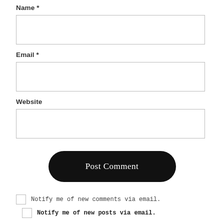Name *
[Figure (other): Empty text input field for Name]
Email *
[Figure (other): Empty text input field for Email]
Website
[Figure (other): Empty text input field for Website]
[Figure (other): Post Comment button, black rounded rectangle]
Notify me of new comments via email.
Notify me of new posts via email.